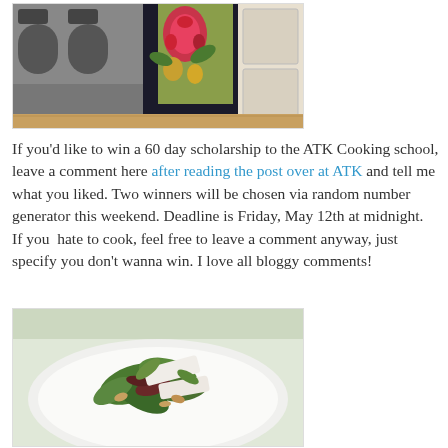[Figure (photo): Person wearing a colorful floral apron standing near a stove in a kitchen]
If you'd like to win a 60 day scholarship to the ATK Cooking school, leave a comment here after reading the post over at ATK and tell me what you liked. Two winners will be chosen via random number generator this weekend. Deadline is Friday, May 12th at midnight.  If you  hate to cook, feel free to leave a comment anyway, just specify you don't wanna win. I love all bloggy comments!
[Figure (photo): A plate with arugula salad topped with shaved cheese and almonds]